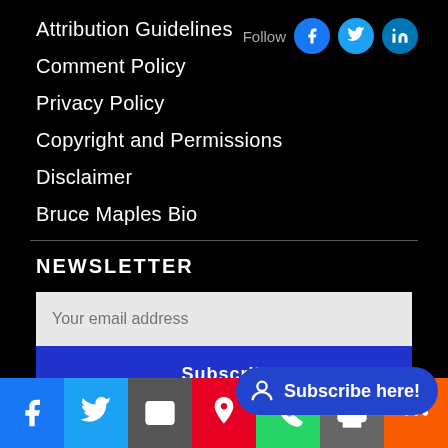Attribution Guidelines
Comment Policy
Privacy Policy
Copyright and Permissions
Disclaimer
Bruce Maples Bio
NEWSLETTER
Your email address
Subscribe
Subscribe here!